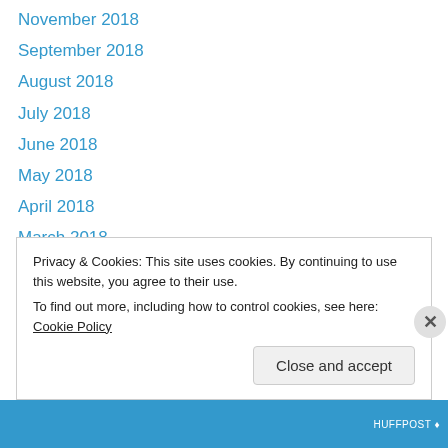November 2018
September 2018
August 2018
July 2018
June 2018
May 2018
April 2018
March 2018
February 2018
January 2018
December 2017
November 2017
October 2017
Privacy & Cookies: This site uses cookies. By continuing to use this website, you agree to their use.
To find out more, including how to control cookies, see here: Cookie Policy
Close and accept